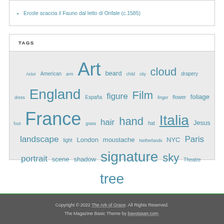Ercole scaccia il Fauno dal letto di Onfale (c.1585)
TAGS
Actor American arm Art beard child city cloud drapery dress England España figure Film finger flower foliage foot France grass hair hand hat Italia Jesus landscape light London moustache Netherlands NYC Paris portrait scene shadow signature sky Theatre tree TV UK USA water woman writer
Copyright © 2022 The Ark of Grace. All Rights Reserved. The Magazine Basic Theme by bavotasan.com.